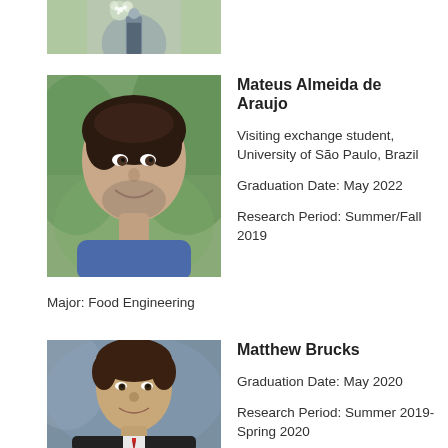[Figure (photo): Partial photo of a person outdoors near a tree with white blossoms, cropped at top of page]
[Figure (photo): Photo of Mateus Almeida de Araujo, a young man with dark hair smiling, outdoor background with green foliage]
Mateus Almeida de Araujo
Visiting exchange student, University of São Paulo, Brazil
Graduation Date: May 2022
Research Period: Summer/Fall 2019
Major: Food Engineering
[Figure (photo): Photo of Matthew Brucks, a young man in formal attire with a red tie, studio portrait with blue-grey background]
Matthew Brucks
Graduation Date: May 2020
Research Period: Summer 2019-Spring 2020